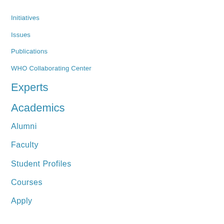Initiatives
Issues
Publications
WHO Collaborating Center
Experts
Academics
Alumni
Faculty
Student Profiles
Courses
Apply